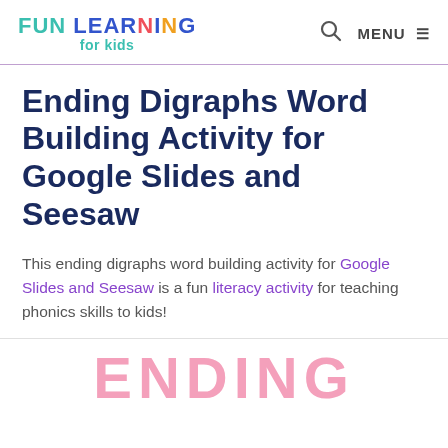FUN LEARNING for kids | MENU
Ending Digraphs Word Building Activity for Google Slides and Seesaw
This ending digraphs word building activity for Google Slides and Seesaw is a fun literacy activity for teaching phonics skills to kids!
[Figure (other): Partial view of decorative text reading ENDING in large pink letters at bottom of page]